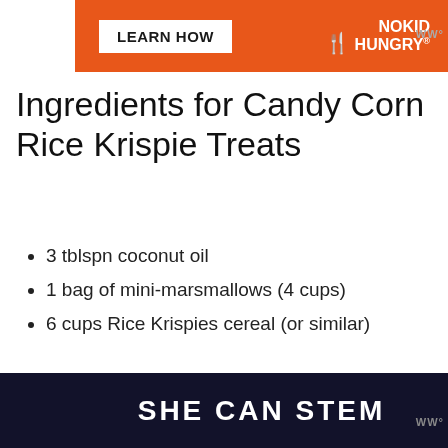[Figure (other): Orange advertisement banner for No Kid Hungry with 'LEARN HOW' button and fork logo]
Ingredients for Candy Corn Rice Krispie Treats
3 tblspn coconut oil
1 bag of mini-marsmallows (4 cups)
6 cups Rice Krispies cereal (or similar)
1/2 cup candy corn candies (is that how you say that?)
1 cup powdered sugar
2 tblspn coconut milk
yellow food coloring
[Figure (other): Dark advertisement banner with text 'SHE CAN STEM']